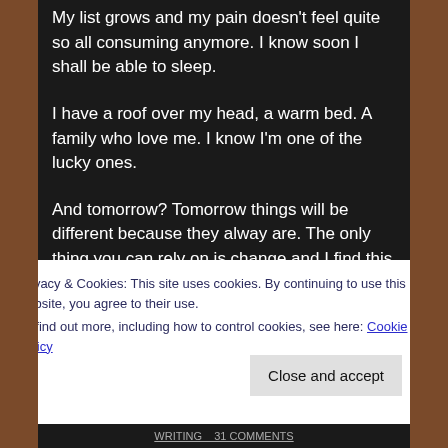My list grows and my pain doesn't feel quite so all consuming anymore. I know soon I shall be able to sleep.
I have a roof over my head, a warm bed. A family who love me. I know I'm one of the lucky ones.
And tomorrow? Tomorrow things will be different because they alway are. The only thing you can rely on is change and I find this comforting because I am certain that just as things can get worse, eventually they will also get better.
This too, shall pass.
Privacy & Cookies: This site uses cookies. By continuing to use this website, you agree to their use.
To find out more, including how to control cookies, see here: Cookie Policy
Close and accept